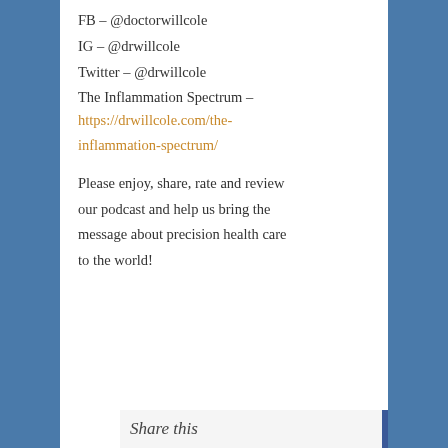FB – @doctorwillcole
IG – @drwillcole
Twitter – @drwillcole
The Inflammation Spectrum – https://drwillcole.com/the-inflammation-spectrum/
Please enjoy, share, rate and review our podcast and help us bring the message about precision health care to the world!
Share this   [Facebook] [Twitter]